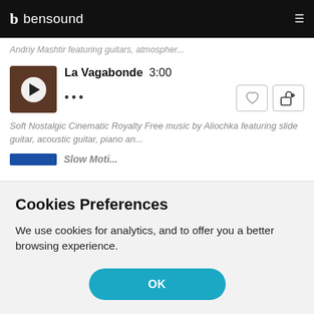bensound
Andriy Mashtir featuring guitars, atmospher...
[Figure (screenshot): Music track thumbnail with play button for 'La Vagabonde']
La Vagabonde   3:00
Soft Nostalgic Cinematic Royalty Free music by Aliochka featuring slide guitar, acoustic guitar, piano an...
Cookies Preferences
We use cookies for analytics, and to offer you a better browsing experience.